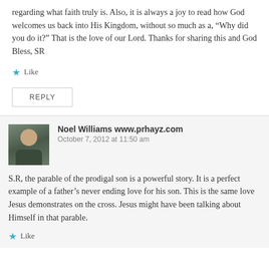regarding what faith truly is. Also, it is always a joy to read how God welcomes us back into His Kingdom, without so much as a, “Why did you do it?” That is the love of our Lord. Thanks for sharing this and God Bless, SR
★ Like
REPLY
Noel Williams www.prhayz.com
October 7, 2012 at 11:50 am
S.R, the parable of the prodigal son is a powerful story. It is a perfect example of a father’s never ending love for his son. This is the same love Jesus demonstrates on the cross. Jesus might have been talking about Himself in that parable.
★ Like